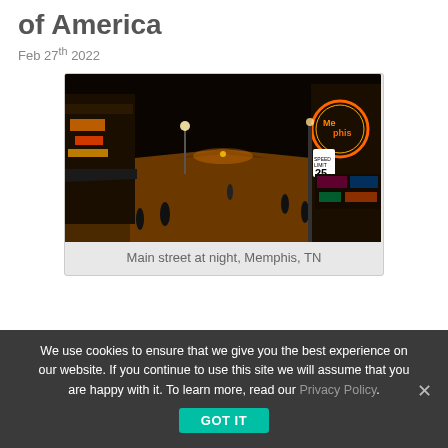of America
Feb 27th 2022
[Figure (photo): Night street scene of Main Street in Memphis, TN with neon signs, storefronts, and pedestrians on a busy urban street at night.]
Main street at night, Memphis, TN
We use cookies to ensure that we give you the best experience on our website. If you continue to use this site we will assume that you are happy with it. To learn more, read our Privacy Policy.
GOT IT